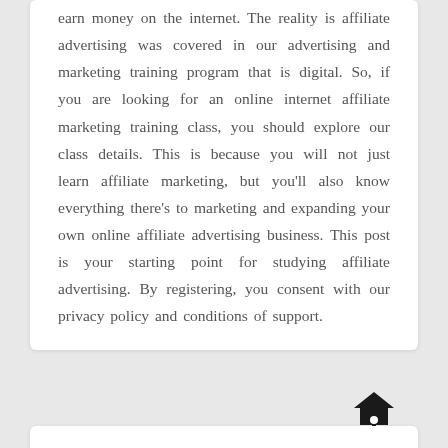earn money on the internet. The reality is affiliate advertising was covered in our advertising and marketing training program that is digital. So, if you are looking for an online internet affiliate marketing training class, you should explore our class details. This is because you will not just learn affiliate marketing, but you'll also know everything there's to marketing and expanding your own online affiliate advertising business. This post is your starting point for studying affiliate advertising. By registering, you consent with our privacy policy and conditions of support.
[Figure (logo): A house/home icon with a dot below it, resembling the Google Pointy logo or a map pin with a roof shape]